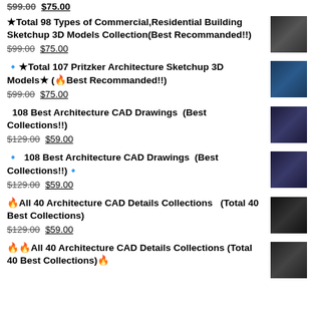$99.00 $75.00
★Total 98 Types of Commercial,Residential Building Sketchup 3D Models Collection(Best Recommanded!!) $99.00 $75.00
🔹★Total 107 Pritzker Architecture Sketchup 3D Models★ (🔥Best Recommanded!!) $99.00 $75.00
🌟 108 Best Architecture CAD Drawings (Best Collections!!) $129.00 $59.00
🔹 108 Best Architecture CAD Drawings (Best Collections!!)🔹 $129.00 $59.00
🔥All 40 Architecture CAD Details Collections (Total 40 Best Collections) $129.00 $59.00
🔥🔥All 40 Architecture CAD Details Collections (Total 40 Best Collections)🔥